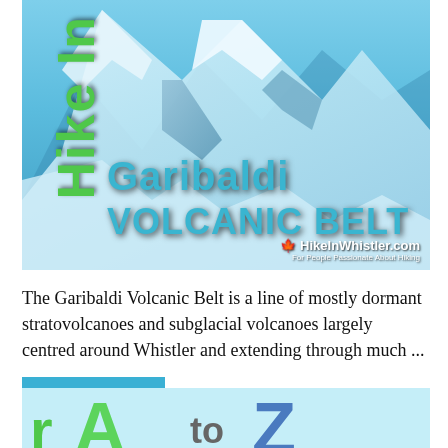[Figure (photo): Mountain photo with snow-covered peaks and blue sky. Overlaid text reads 'Hike In' vertically on the left, 'Garibaldi' and 'VOLCANIC BELT' in large cyan bold text, and 'HikeInWhistler.com' logo with maple leaf and tagline 'For People Passionate About Hiking' in the lower right.]
The Garibaldi Volcanic Belt is a line of mostly dormant stratovolcanoes and subglacial volcanoes largely centred around Whistler and extending through much ...
[Figure (illustration): Partial view of another article image with light blue background showing large green letters 'r', 'A', and blue 'Z' partially visible — appears to be a cropped preview of another article.]